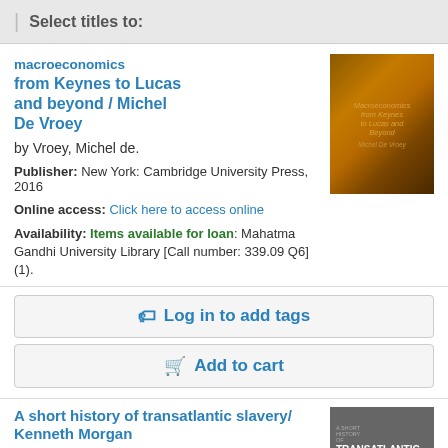Select titles to:
Macroeconomics from Keynes to Lucas and beyond / Michel De Vroey
by Vroey, Michel de.
Publisher: New York: Cambridge University Press, 2016
Online access: Click here to access online
Availability: Items available for loan: Mahatma Gandhi University Library [Call number: 339.09 Q6] (1).
[Figure (illustration): Book cover of Macroeconomics from Keynes to Lucas and Beyond by Michel De Vroey - dark golden/brown textured cover]
Log in to add tags
Add to cart
A short history of transatlantic slavery/ Kenneth Morgan
by Morgan, Kenneth.
[Figure (illustration): Book cover of A Short History of Transatlantic Slavery by Kenneth Morgan - gray cover with bold white title text]